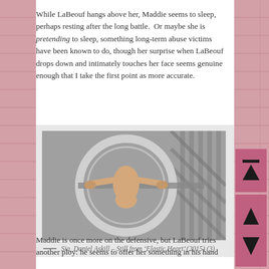While LaBeouf hangs above her, Maddie seems to sleep, perhaps resting after the long battle.  Or maybe she is pretending to sleep, something long-term abuse victims have been known to do, though her surprise when LaBeouf drops down and intimately touches her face seems genuine enough that I take the first point as more accurate.
[Figure (photo): Still from music video showing a figure viewed from above inside a circular cage structure, in black and white tones.]
— Sia, Daniel Askill – Still from 'Elastic Heart' (2015) (3)
Maddie is once more on the defensive, but LaBeouf tries another ploy: he seems to offer her something in his hand